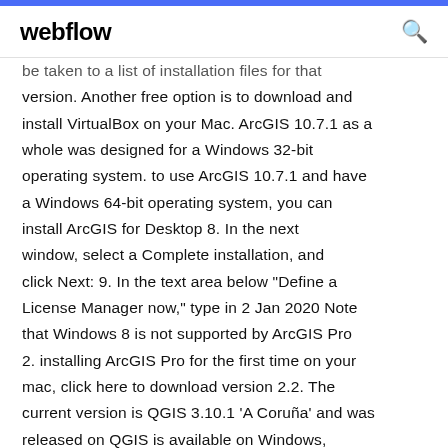webflow
be taken to a list of installation files for that version. Another free option is to download and install VirtualBox on your Mac. ArcGIS 10.7.1 as a whole was designed for a Windows 32-bit operating system. to use ArcGIS 10.7.1 and have a Windows 64-bit operating system, you can install ArcGIS for Desktop 8. In the next window, select a Complete installation, and click Next: 9. In the text area below "Define a License Manager now," type in 2 Jan 2020 Note that Windows 8 is not supported by ArcGIS Pro 2. installing ArcGIS Pro for the first time on your mac, click here to download version 2.2. The current version is QGIS 3.10.1 'A Coruña' and was released on QGIS is available on Windows,